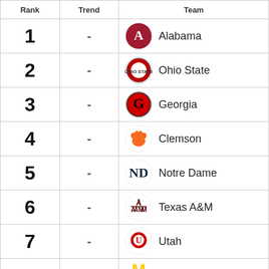| Rank | Trend | Team |
| --- | --- | --- |
| 1 | - | Alabama |
| 2 | - | Ohio State |
| 3 | - | Georgia |
| 4 | - | Clemson |
| 5 | - | Notre Dame |
| 6 | - | Texas A&M |
| 7 | - | Utah |
| 8 | - | ... |